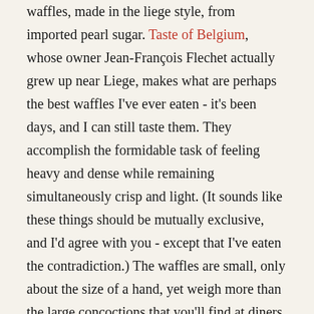waffles, made in the liege style, from imported pearl sugar. Taste of Belgium, whose owner Jean-François Flechet actually grew up near Liege, makes what are perhaps the best waffles I've ever eaten - it's been days, and I can still taste them. They accomplish the formidable task of feeling heavy and dense while remaining simultaneously crisp and light. (It sounds like these things should be mutually exclusive, and I'd agree with you - except that I've eaten the contradiction.) The waffles are small, only about the size of a hand, yet weigh more than the large concoctions that you'll find at diners and breakfast joints around the country. And the outside is delightfully crunchy, with a thin sugar crust (this is why using pearl sugar is important - when baked, the heat actually brings the sugar to the surface of the waffle). These are waffles that would hold up to fruit, syrup, ice cream, or whatever else you'd care to throw on top of them without running the risk of becoming soggy at any point. But they were excellent plain, and I'd almost hesitate to mar such perfection with unnecessary